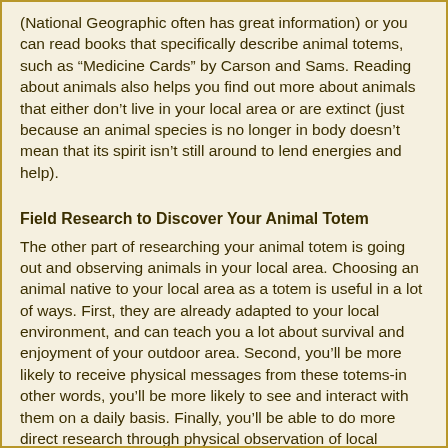(National Geographic often has great information) or you can read books that specifically describe animal totems, such as "Medicine Cards" by Carson and Sams. Reading about animals also helps you find out more about animals that either don't live in your local area or are extinct (just because an animal species is no longer in body doesn't mean that its spirit isn't still around to lend energies and help).
Field Research to Discover Your Animal Totem
The other part of researching your animal totem is going out and observing animals in your local area. Choosing an animal native to your local area as a totem is useful in a lot of ways. First, they are already adapted to your local environment, and can teach you a lot about survival and enjoyment of your outdoor area. Second, you'll be more likely to receive physical messages from these totems-in other words, you'll be more likely to see and interact with them on a daily basis. Finally, you'll be able to do more direct research through physical observation of local animals than with exotic ones from faraway places.
To do this kind of field research, just walk through any park or wildlife area and observe the animals. Sandy on the